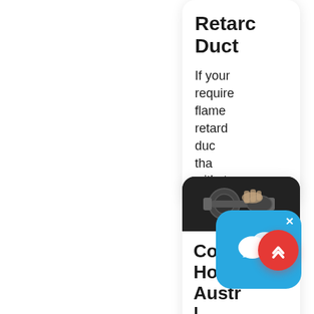Retarc Duct
If your require flame retard duc tha withst
[Figure (photo): Close-up photo of mechanical hoses or cables being handled]
Comp Hoses Austr |